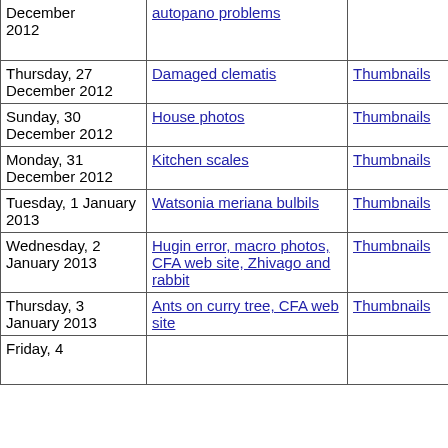| Date | Description | Thumbnails | Small photos | diary |
| --- | --- | --- | --- | --- |
| December 2012 | autopano problems | Thumbnails | Small photos |  |
| Thursday, 27 December 2012 | Damaged clematis | Thumbnails | Small photos | diary |
| Sunday, 30 December 2012 | House photos | Thumbnails | Small photos | diary |
| Monday, 31 December 2012 | Kitchen scales | Thumbnails | Small photos | diary |
| Tuesday, 1 January 2013 | Watsonia meriana bulbils | Thumbnails | Small photos | diary |
| Wednesday, 2 January 2013 | Hugin error, macro photos, CFA web site, Zhivago and rabbit | Thumbnails | Small photos | diary |
| Thursday, 3 January 2013 | Ants on curry tree, CFA web site | Thumbnails | Small photos | diary |
| Friday, 4 ... |  |  | Small ... |  |